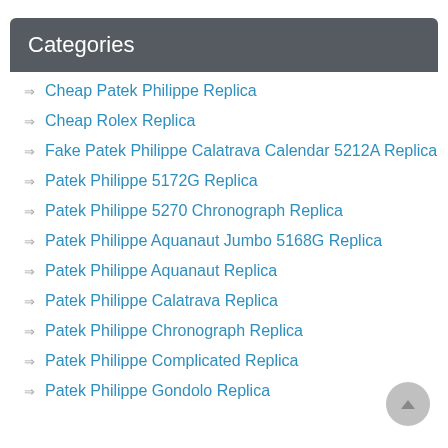Categories
Cheap Patek Philippe Replica
Cheap Rolex Replica
Fake Patek Philippe Calatrava Calendar 5212A Replica
Patek Philippe 5172G Replica
Patek Philippe 5270 Chronograph Replica
Patek Philippe Aquanaut Jumbo 5168G Replica
Patek Philippe Aquanaut Replica
Patek Philippe Calatrava Replica
Patek Philippe Chronograph Replica
Patek Philippe Complicated Replica
Patek Philippe Gondolo Replica